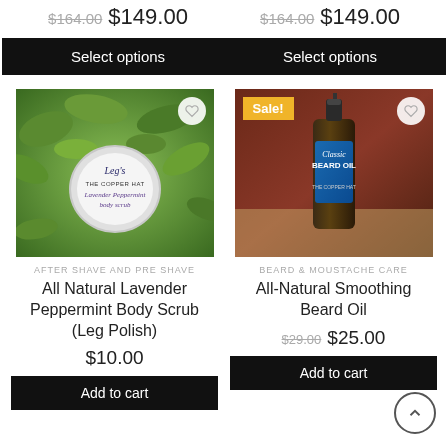$164.00  $149.00
$164.00  $149.00
Select options
Select options
[Figure (photo): A round tin of Leg's The Copper Hat Lavender Peppermint body scrub on green leafy background]
[Figure (photo): A dark glass bottle of Classic Beard Oil by The Copper Hat on wooden surface with red barn background, with Sale! badge]
AFTER SHAVE AND PRE SHAVE
BEARD & MOUSTACHE CARE
All Natural Lavender Peppermint Body Scrub (Leg Polish)
All-Natural Smoothing Beard Oil
$10.00
$29.00  $25.00
Add to cart
Add to cart